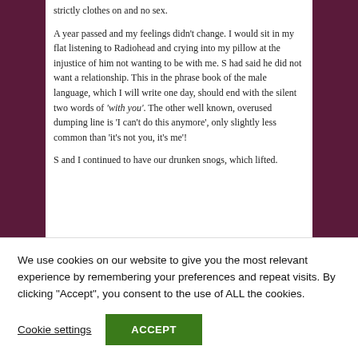strictly clothes on and no sex.
A year passed and my feelings didn't change. I would sit in my flat listening to Radiohead and crying into my pillow at the injustice of him not wanting to be with me. S had said he did not want a relationship. This in the phrase book of the male language, which I will write one day, should end with the silent two words of 'with you'. The other well known, overused dumping line is 'I can't do this anymore', only slightly less common than 'it's not you, it's me'!
S and I continued to have our drunken snogs, which lifted.
We use cookies on our website to give you the most relevant experience by remembering your preferences and repeat visits. By clicking "Accept", you consent to the use of ALL the cookies.
Cookie settings
ACCEPT